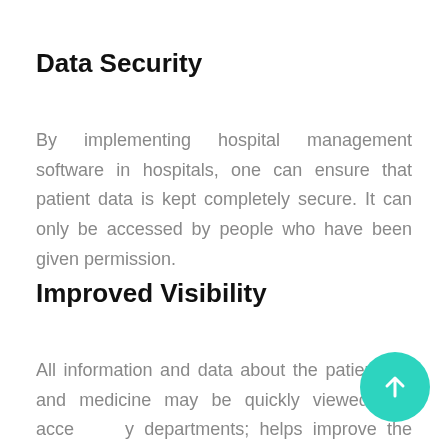Data Security
By implementing hospital management software in hospitals, one can ensure that patient data is kept completely secure. It can only be accessed by people who have been given permission.
Improved Visibility
All information and data about the patient, do and medicine may be quickly viewed and acce y departments; helps improve the quality of service to the patients.